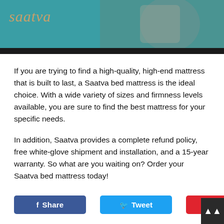[Figure (photo): Screenshot of a Saatva mattress video thumbnail with teal background and 'saatva' logo text in gold/tan color, with a dark bar at the bottom]
If you are trying to find a high-quality, high-end mattress that is built to last, a Saatva bed mattress is the ideal choice. With a wide variety of sizes and firmness levels available, you are sure to find the best mattress for your specific needs.
In addition, Saatva provides a complete refund policy, free white-glove shipment and installation, and a 15-year warranty. So what are you waiting on? Order your Saatva bed mattress today!